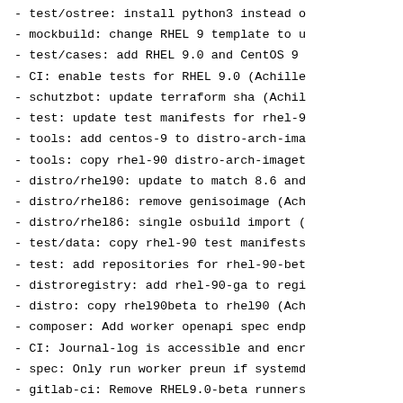- test/ostree: install python3 instead o
- mockbuild: change RHEL 9 template to u
- test/cases: add RHEL 9.0 and CentOS 9
- CI: enable tests for RHEL 9.0 (Achille
- schutzbot: update terraform sha (Achil
- test: update test manifests for rhel-9
- tools: add centos-9 to distro-arch-ima
- tools: copy rhel-90 distro-arch-imaget
- distro/rhel90: update to match 8.6 and
- distro/rhel86: remove genisoimage (Ach
- distro/rhel86: single osbuild import (
- test/data: copy rhel-90 test manifests
- test: add repositories for rhel-90-bet
- distroregistry: add rhel-90-ga to regi
- distro: copy rhel90beta to rhel90 (Ach
- composer: Add worker openapi spec endp
- CI: Journal-log is accessible and encr
- spec: Only run worker preun if systemd
- gitlab-ci: Remove RHEL9.0-beta runners
- schutzbot: double quote jq argument to
- distribution: worker dnf-json & cache
- cloudapi/v2: 5xx error metrics (Gianlu
- internal/blueprint: allow filesystem s
- internal/blueprint: introduce custom f